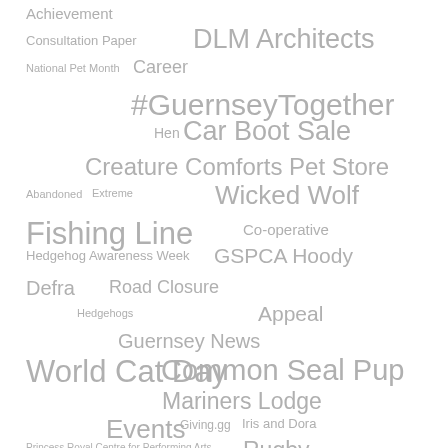[Figure (infographic): Tag cloud / word cloud containing various topic tags in different font sizes, all rendered in gray. Tags include: Achievement, Consultation Paper, DLM Architects, National Pet Month, Career, #GuernseyTogether, Hen, Car Boot Sale, Creature Comforts Pet Store, Abandoned, Extreme, Wicked Wolf, Fishing Line, Co-operative, Hedgehog Awareness Week, GSPCA Hoody, Defra, Road Closure, Hedgehogs, Appeal, Guernsey News, World Cat Day, Common Seal Pup, Mariners Lodge, Events, Giving.gg, Iris and Dora, Princess Royal Centre for Performing Arts, Rugby, Toni de Kooker, Award]